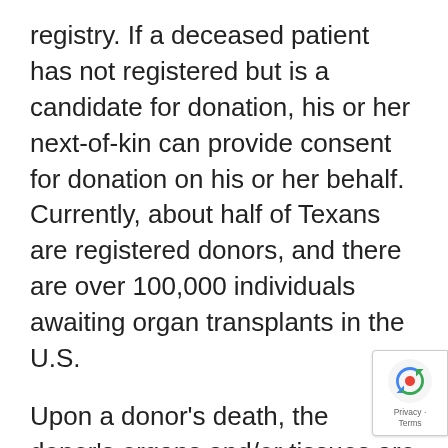registry. If a deceased patient has not registered but is a candidate for donation, his or her next-of-kin can provide consent for donation on his or her behalf. Currently, about half of Texans are registered donors, and there are over 100,000 individuals awaiting organ transplants in the U.S.
Upon a donor's death, the donor's organs and/or tissues are recovered by an organ procurement organization (OPO). The OPO serving the Greater Houston area is LifeGift. To learn more about the organ donation process (for donation from deceased donors), please visit the LifeGift website.